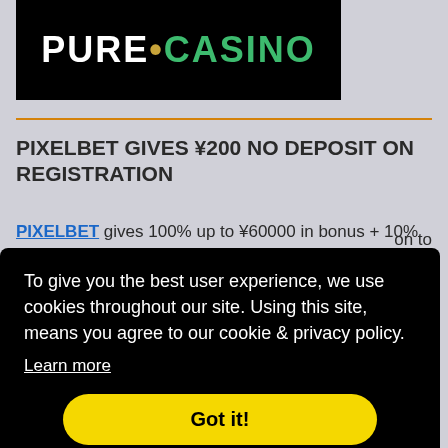[Figure (logo): Pure Casino logo — white text 'PURE' with a gold dot and green text 'CASINO' on black background]
PIXELBET GIVES ¥200 NO DEPOSIT ON REGISTRATION
PIXELBET gives 100% up to ¥60000 in bonus + 10% ... on to ... 10%
To give you the best user experience, we use cookies throughout our site. Using this site, means you agree to our cookie & privacy policy.
Learn more
[Got it! button]